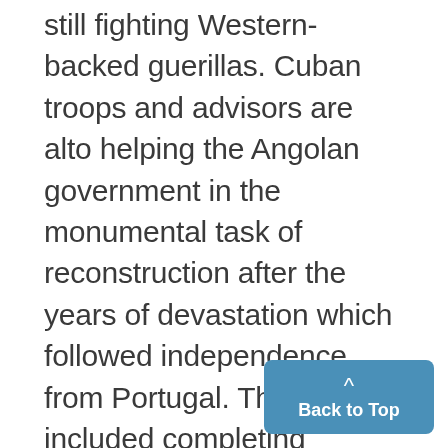still fighting Western-backed guerillas. Cuban troops and advisors are alto helping the Angolan government in the monumental task of reconstruction after the years of devastation which followed independence from Portugal. That tasks included completing railroad links, building schools ahd hospitals, and constructing now housing units. And, perhaps most important for Angola's economy, the Cuban troops are protecting Gulf Oil's refineries in Cabinda against at from the UNITA guerillas. a